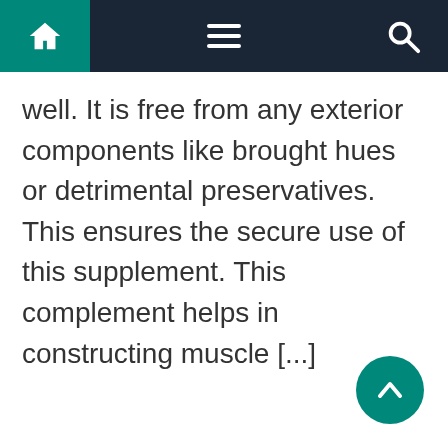Navigation bar with home, menu, and search icons
well. It is free from any exterior components like brought hues or detrimental preservatives. This ensures the secure use of this supplement. This complement helps in constructing muscle [...]